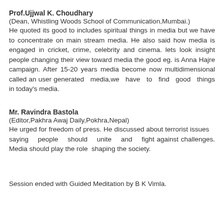Prof.Ujjwal K. Choudhary
(Dean, Whistling Woods School of Communication,Mumbai.)
He quoted its good to includes spiritual things in media but we have to concentrate on main stream media. He also said how media is engaged in cricket, crime, celebrity and cinema. lets look insight people changing their view toward media the good eg. is Anna Hajre campaign. After 15-20 years media become now multidimensional called an user generated media,we have to find good things in today's media.
Mr. Ravindra Bastola
(Editor,Pakhra Awaj Daily,Pokhra,Nepal)
He urged for freedom of press. He discussed about terrorist issues saying people should unite and fight against challenges. Media should play the role shaping the society.
Session ended with Guided Meditation by B K Vimla.